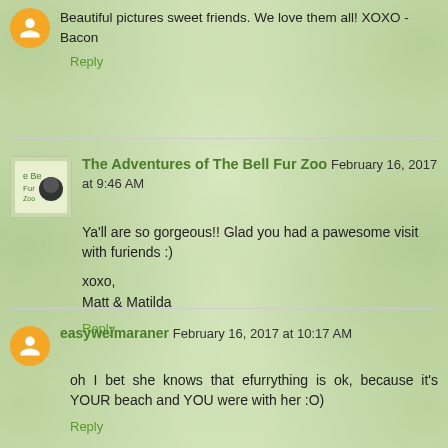Beautiful pictures sweet friends. We love them all! XOXO - Bacon
Reply
The Adventures of The Bell Fur Zoo February 16, 2017 at 9:46 AM
Ya'll are so gorgeous!! Glad you had a pawesome visit with furiends :)
xoxo,
Matt & Matilda
Reply
easyweimaraner February 16, 2017 at 10:17 AM
oh I bet she knows that efurrything is ok, because it's YOUR beach and YOU were with her :O)
Reply